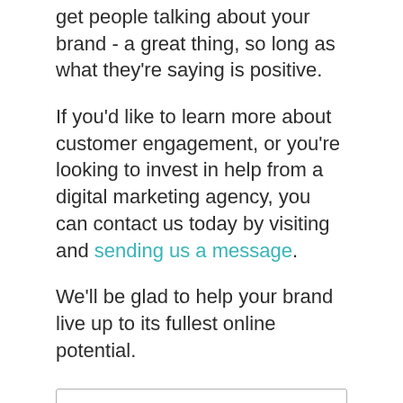get people talking about your brand - a great thing, so long as what they're saying is positive.
If you'd like to learn more about customer engagement, or you're looking to invest in help from a digital marketing agency, you can contact us today by visiting and sending us a message.
We'll be glad to help your brand live up to its fullest online potential.
Search